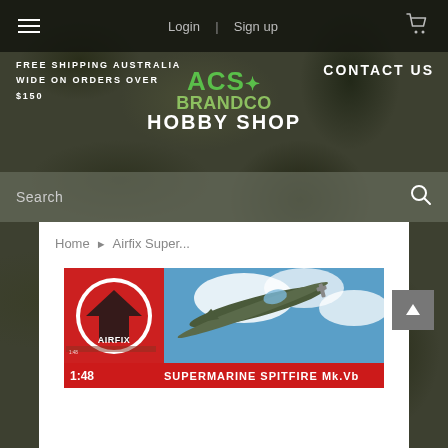Login | Sign up
FREE SHIPPING AUSTRALIA WIDE ON ORDERS OVER $150
CONTACT US
ACS BRANDCO HOBBY SHOP
Search
Home > Airfix Super...
[Figure (photo): Airfix 1:48 Supermarine Spitfire Mk.Vb model kit box art showing a Spitfire aircraft in flight against a cloudy sky]
[Figure (photo): Partial view of another Airfix model kit box at the bottom of the page]